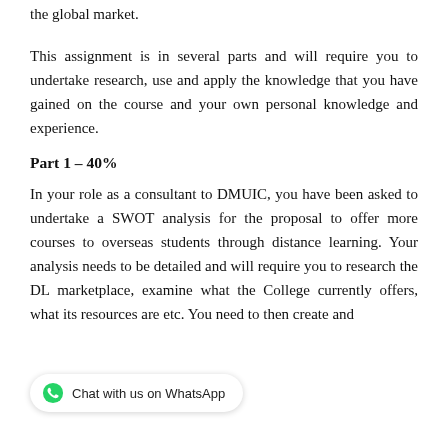the global market.
This assignment is in several parts and will require you to undertake research, use and apply the knowledge that you have gained on the course and your own personal knowledge and experience.
Part 1 – 40%
In your role as a consultant to DMUIC, you have been asked to undertake a SWOT analysis for the proposal to offer more courses to overseas students through distance learning. Your analysis needs to be detailed and will require you to research the DL marketplace, examine what the College currently offers, what its resources are etc. You need to then create and